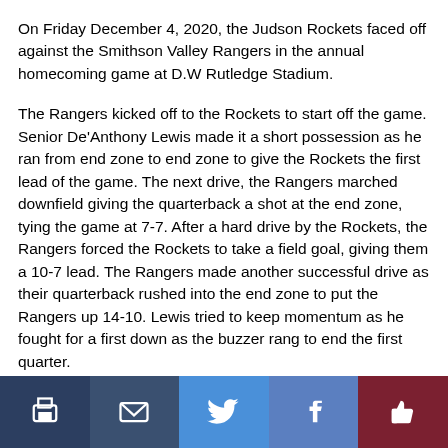On Friday December 4, 2020, the Judson Rockets faced off against the Smithson Valley Rangers in the annual homecoming game at D.W Rutledge Stadium.
The Rangers kicked off to the Rockets to start off the game. Senior De'Anthony Lewis made it a short possession as he ran from end zone to end zone to give the Rockets the first lead of the game. The next drive, the Rangers marched downfield giving the quarterback a shot at the end zone, tying the game at 7-7. After a hard drive by the Rockets, the Rangers forced the Rockets to take a field goal, giving them a 10-7 lead. The Rangers made another successful drive as their quarterback rushed into the end zone to put the Rangers up 14-10. Lewis tried to keep momentum as he fought for a first down as the buzzer rang to end the first quarter.
To begin the second quarter, the Rockets tried to rally but were forced to punt the ball away but the Rockets defense finally got a
[Figure (infographic): Social sharing bar with five buttons: print (dark navy), email (dark blue), Twitter (blue bird), Facebook (blue f), and thumbs up/like (dark red)]